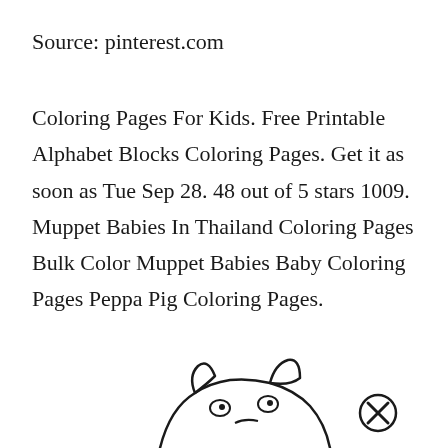Source: pinterest.com
Coloring Pages For Kids. Free Printable Alphabet Blocks Coloring Pages. Get it as soon as Tue Sep 28. 48 out of 5 stars 1009. Muppet Babies In Thailand Coloring Pages Bulk Color Muppet Babies Baby Coloring Pages Peppa Pig Coloring Pages.
[Figure (illustration): Partial illustration of an animal (pig or cat) coloring page with a circular close/cancel button icon (X in circle) visible in the lower portion of the page]